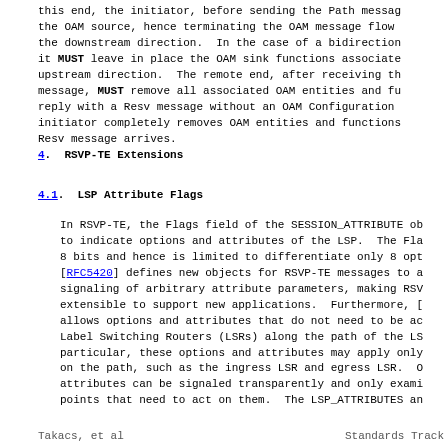this end, the initiator, before sending the Path messag the OAM source, hence terminating the OAM message flow the downstream direction.  In the case of a bidirection it MUST leave in place the OAM sink functions associate upstream direction.  The remote end, after receiving th message, MUST remove all associated OAM entities and fu reply with a Resv message without an OAM Configuration initiator completely removes OAM entities and functions Resv message arrives.
4.   RSVP-TE Extensions
4.1.  LSP Attribute Flags
In RSVP-TE, the Flags field of the SESSION_ATTRIBUTE ob to indicate options and attributes of the LSP.  The Fla 8 bits and hence is limited to differentiate only 8 opt [RFC5420] defines new objects for RSVP-TE messages to a signaling of arbitrary attribute parameters, making RSV extensible to support new applications.  Furthermore, [ allows options and attributes that do not need to be ac Label Switching Routers (LSRs) along the path of the LS particular, these options and attributes may apply only on the path, such as the ingress LSR and egress LSR.  O attributes can be signaled transparently and only exami points that need to act on them.  The LSP_ATTRIBUTES an
Takacs, et al                    Standards Track